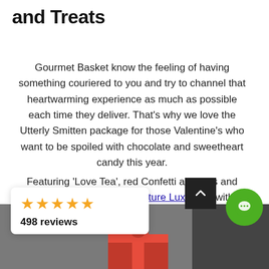and Treats
Gourmet Basket know the feeling of having something couriered to you and try to channel that heartwarming experience as much as possible each time they deliver. That's why we love the Utterly Smitten package for those Valentine's who want to be spoiled with chocolate and sweetheart candy this year.
Featuring 'Love Tea', red Confetti almonds and Byron Bay Cookie's Signature Luxe Tins with macadamia and white choc cookie bites, this is for the sweet tooth to be opened in a romantic setting.
[Figure (other): Review widget showing 4.5 orange stars and '498 reviews', plus a 'Powered by OKENDO' footer bar]
[Figure (photo): Partial photo at the bottom of the page showing a dark grey background with a red gift/ribbon visible]